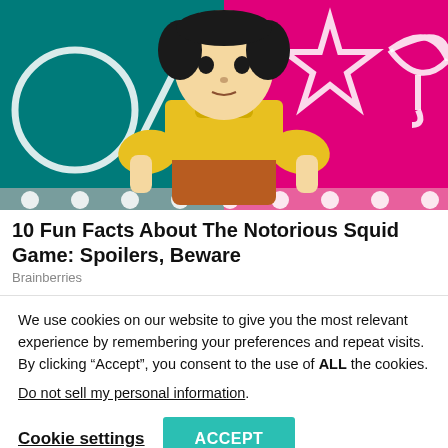[Figure (photo): A doll figure from the Squid Game TV show, wearing a yellow shirt and orange/brown pinafore dress, standing against a split teal and magenta background with glittery white geometric shapes (circle, triangle, star, umbrella)]
10 Fun Facts About The Notorious Squid Game: Spoilers, Beware
Brainberries
We use cookies on our website to give you the most relevant experience by remembering your preferences and repeat visits. By clicking “Accept”, you consent to the use of ALL the cookies.
Do not sell my personal information.
Cookie settings   ACCEPT